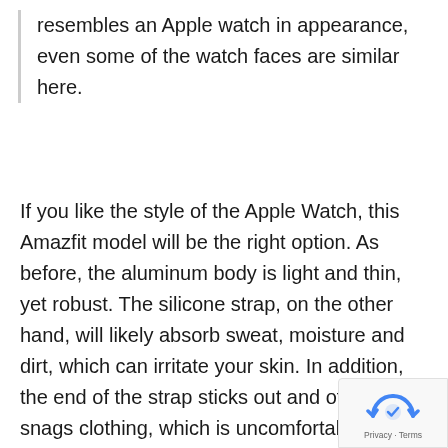resembles an Apple watch in appearance, even some of the watch faces are similar here.
If you like the style of the Apple Watch, this Amazfit model will be the right option. As before, the aluminum body is light and thin, yet robust. The silicone strap, on the other hand, will likely absorb sweat, moisture and dirt, which can irritate your skin. In addition, the end of the strap sticks out and often snags clothing, which is uncomfortable. Any other width of 20 mm can be used.
[Figure (other): reCAPTCHA badge with Privacy and Terms links]